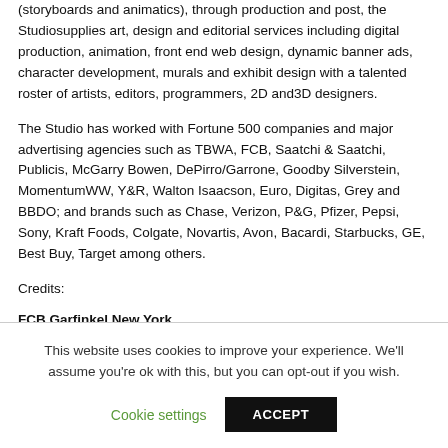(storyboards and animatics), through production and post, the Studiosupplies art, design and editorial services including digital production, animation, front end web design, dynamic banner ads, character development, murals and exhibit design with a talented roster of artists, editors, programmers, 2D and3D designers.
The Studio has worked with Fortune 500 companies and major advertising agencies such as TBWA, FCB, Saatchi & Saatchi, Publicis, McGarry Bowen, DePirro/Garrone, Goodby Silverstein, MomentumWW, Y&R, Walton Isaacson, Euro, Digitas, Grey and BBDO; and brands such as Chase, Verizon, P&G, Pfizer, Pepsi, Sony, Kraft Foods, Colgate, Novartis, Avon, Bacardi, Starbucks, GE, Best Buy, Target among others.
Credits:
FCB Garfinkel New York
This website uses cookies to improve your experience. We'll assume you're ok with this, but you can opt-out if you wish.